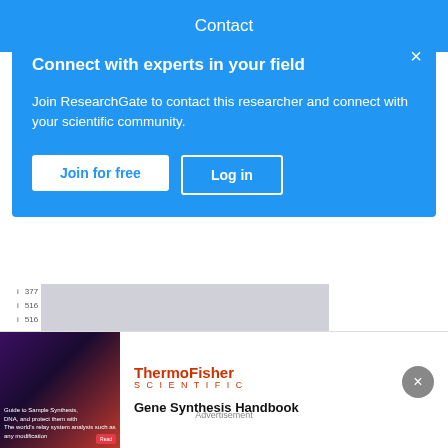Contact
Connect with experts in your field
Join ResearchGate to contact this researcher and connect with your scientific community.
Join for free
Log in
| i | 377 |  |  |  |  |
| i | 516 |  |  |  |  |
| i | 516 |  |  |  |  |
| i | 510 |  |  |  |  |
| i | 517 |  |  |  |  |
| i | 517 |  |  |  |  |
ANTI-MASK SCALE (PERCEIVED INEFFECTIVENESS AND PSYCHOLOGICAL REACTANCE): CZECH, GERMAN, POLISH & SPANISH VERSION
Advertisement
[Figure (screenshot): Thermo Fisher Scientific advertisement showing a researcher with Gene Synthesis Handbook]
Gene Synthesis Handbook